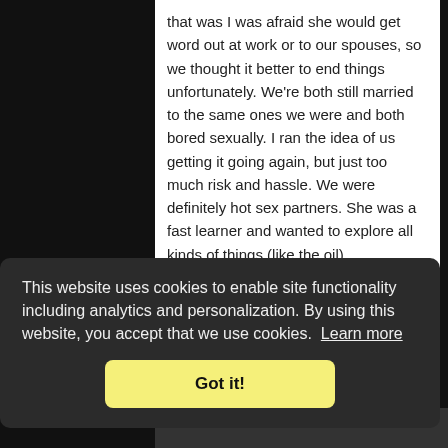that was I was afraid she would get word out at work or to our spouses, so we thought it better to end things unfortunately. We're both still married to the same ones we were and both bored sexually. I ran the idea of us getting it going again, but just too much risk and hassle. We were definitely hot sex partners. She was a fast learner and wanted to explore all kinds of things (like the oil).
This website uses cookies to enable site functionality including analytics and personalization. By using this website, you accept that we use cookies. Learn more
Got it!
Like  (2)   Remove it   (0)